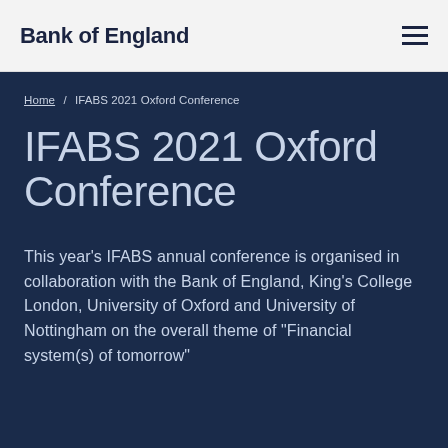Bank of England
Home / IFABS 2021 Oxford Conference
IFABS 2021 Oxford Conference
This year's IFABS annual conference is organised in collaboration with the Bank of England, King's College London, University of Oxford and University of Nottingham on the overall theme of "Financial system(s) of tomorrow"